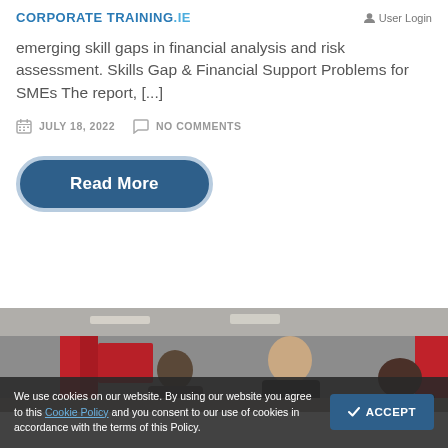CORPORATE TRAINING.IE  User Login
emerging skill gaps in financial analysis and risk assessment. Skills Gap & Financial Support Problems for SMEs The report, [...]
JULY 18, 2022   NO COMMENTS
Read More
[Figure (photo): Photo of people in a conference or office setting with red banners in background]
We use cookies on our website. By using our website you agree to this Cookie Policy and you consent to our use of cookies in accordance with the terms of this Policy.  ACCEPT